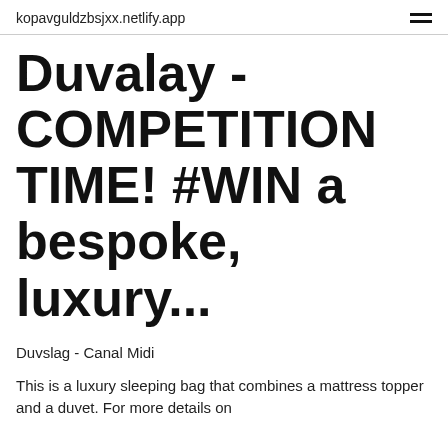kopavguldzbsjxx.netlify.app
Duvalay - COMPETITION TIME! #WIN a bespoke, luxury...
Duvslag - Canal Midi
This is a luxury sleeping bag that combines a mattress topper and a duvet. For more details on